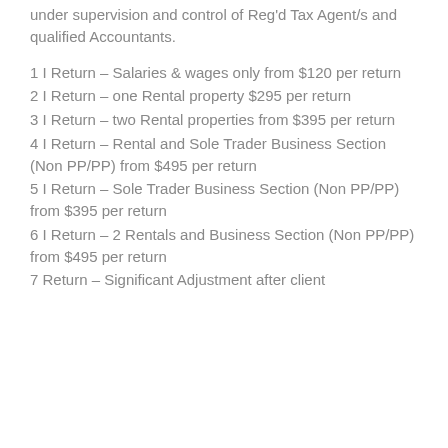under supervision and control of Reg'd Tax Agent/s and qualified Accountants.
1 I Return – Salaries & wages only from $120 per return
2 I Return – one Rental property $295 per return
3 I Return – two Rental properties from $395 per return
4 I Return – Rental and Sole Trader Business Section (Non PP/PP) from $495 per return
5 I Return – Sole Trader Business Section (Non PP/PP) from $395 per return
6 I Return – 2 Rentals and Business Section (Non PP/PP) from $495 per return
7 Return – Significant Adjustment after client